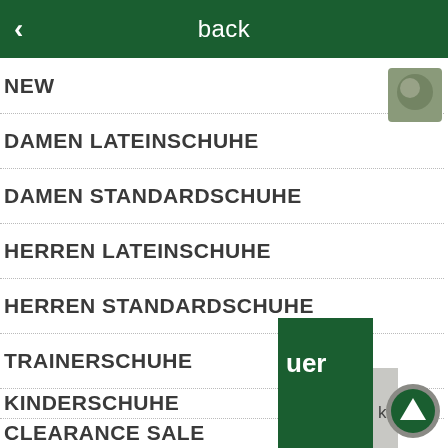back
NEW
DAMEN LATEINSCHUHE
DAMEN STANDARDSCHUHE
HERREN LATEINSCHUHE
HERREN STANDARDSCHUHE
TRAINERSCHUHE
KINDERSCHUHE
CLEARANCE SALE
[Figure (screenshot): Partial popup overlay showing text 'ungen' and 'amit', partially visible on right side. Dark green block with text 'uer' and grey block with 'korb' partially visible at bottom right. Scroll-to-top circular button at bottom right.]